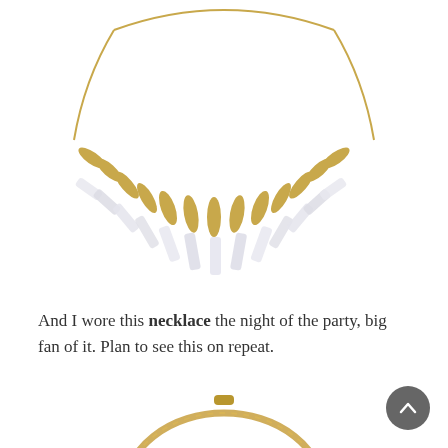[Figure (photo): A statement necklace with alternating gold metallic elongated disk beads and clear/white crystal quartz spike pendants arranged in a curved fan shape, suspended on a thin gold wire chain.]
And I wore this necklace the night of the party, big fan of it. Plan to see this on repeat.
[Figure (photo): A simple gold snake-chain choker necklace with a small gold clasp at the top, shown in an oval/circular shape on a white background.]